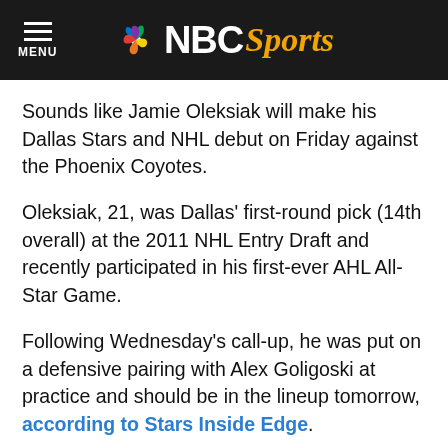MENU | NBC Sports
Sounds like Jamie Oleksiak will make his Dallas Stars and NHL debut on Friday against the Phoenix Coyotes.
Oleksiak, 21, was Dallas' first-round pick (14th overall) at the 2011 NHL Entry Draft and recently participated in his first-ever AHL All-Star Game.
Following Wednesday's call-up, he was put on a defensive pairing with Alex Goligoski at practice and should be in the lineup tomorrow, according to Stars Inside Edge.
It's a big move that should have Stars fans excited — "big" being the operative word.
Oleksiak is listed at 6-foot-7, 242 pounds and has a massive reach, something that benefited him well during